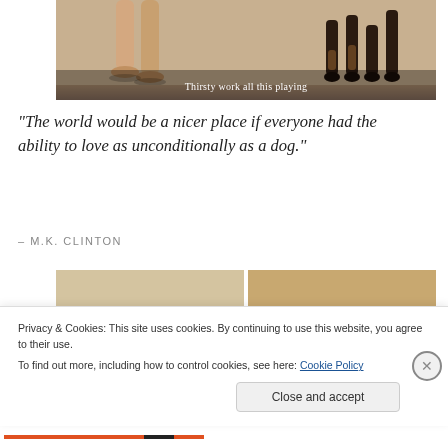[Figure (photo): Photo of people and dogs on a beach/sand, cropped showing legs and paws. Caption overlay reads 'Thirsty work all this playing']
Thirsty work all this playing
“The world would be a nicer place if everyone had the ability to love as unconditionally as a dog.”
– M.K. CLINTON
[Figure (photo): Two side-by-side photos of a black Rottweiler on sandy dunes/beach. Left photo: dog walking toward camera holding something in mouth. Right photo: dog walking on sand dunes.]
Privacy & Cookies: This site uses cookies. By continuing to use this website, you agree to their use.
To find out more, including how to control cookies, see here: Cookie Policy